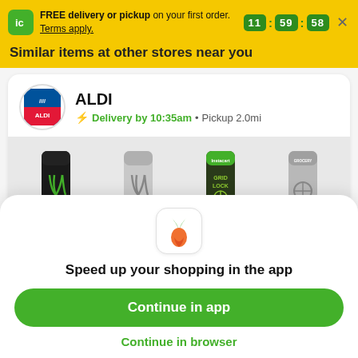FREE delivery or pickup on your first order. Terms apply.
Similar items at other stores near you
ALDI
Delivery by 10:35am • Pickup 2.0mi
[Figure (photo): Four energy drink cans: Monster Energy (black), Monster Energy (silver/white), Gridlock (green), and a silver/grey can]
[Figure (logo): Instacart carrot logo icon]
Speed up your shopping in the app
Continue in app
Continue in browser